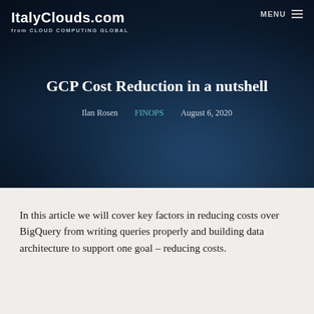ItalyClouds.com
from CLOUD COMPUTING GLOBAL
GCP Cost Reduction in a nutshell
Ilan Rosen   FINOPS   August 6, 2020
In this article we will cover key factors in reducing costs over BigQuery from writing queries properly and building data architecture to support one goal – reducing costs.